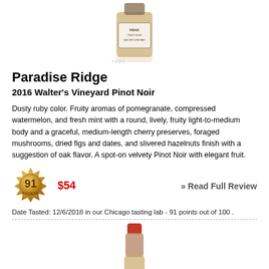[Figure (photo): Bottle of Paradise Ridge 2016 Walter's Vineyard Pinot Noir wine with label visible, top portion of bottle shown]
Paradise Ridge
2016 Walter's Vineyard Pinot Noir
Dusty ruby color. Fruity aromas of pomegranate, compressed watermelon, and fresh mint with a round, lively, fruity light-to-medium body and a graceful, medium-length cherry preserves, foraged mushrooms, dried figs and dates, and slivered hazelnuts finish with a suggestion of oak flavor. A spot-on velvety Pinot Noir with elegant fruit.
[Figure (other): Gold badge showing 91 Points score]
$54
» Read Full Review
Date Tasted: 12/6/2018 in our Chicago tasting lab - 91 points out of 100 .
[Figure (photo): Bottom half of a wine bottle showing red foil capsule top, second wine listing]